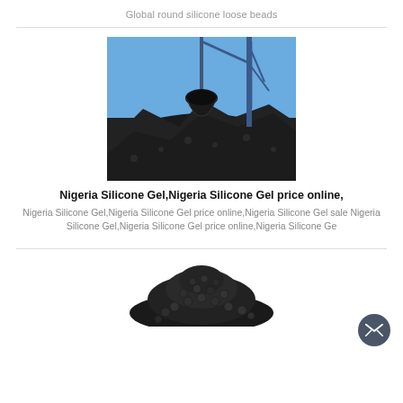Global round silicone loose beads
[Figure (photo): Industrial crane grabbing dark material (silicone gel beads or coal) from a large pile, with blue sky in the background]
Nigeria Silicone Gel,Nigeria Silicone Gel price online,
Nigeria Silicone Gel,Nigeria Silicone Gel price online,Nigeria Silicone Gel sale Nigeria Silicone Gel,Nigeria Silicone Gel price online,Nigeria Silicone Ge
[Figure (photo): Close-up pile of dark round silicone gel beads]